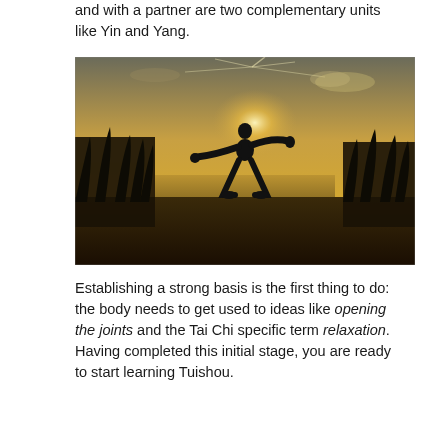and with a partner are two complementary units like Yin and Yang.
[Figure (photo): Silhouette of a person practising Tai Chi in a wide stance with arms extended, backlit by a golden sunset over water and tall grasses.]
Establishing a strong basis is the first thing to do: the body needs to get used to ideas like opening the joints and the Tai Chi specific term relaxation. Having completed this initial stage, you are ready to start learning Tuishou.